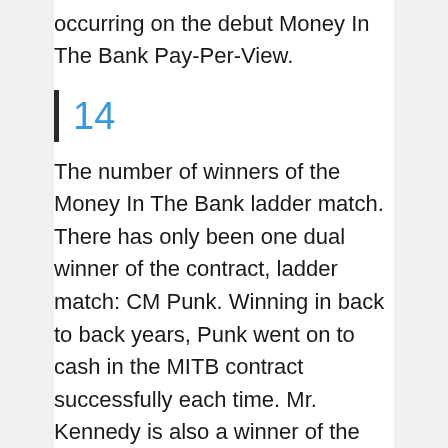occurring on the debut Money In The Bank Pay-Per-View.
14
The number of winners of the Money In The Bank ladder match. There has only been one dual winner of the contract, ladder match: CM Punk. Winning in back to back years, Punk went on to cash in the MITB contract successfully each time. Mr. Kennedy is also a winner of the MITB ladder match, however due to injury, he lost his briefcase to Edge before he could cash in. Thus, Mr Kennedy remains the